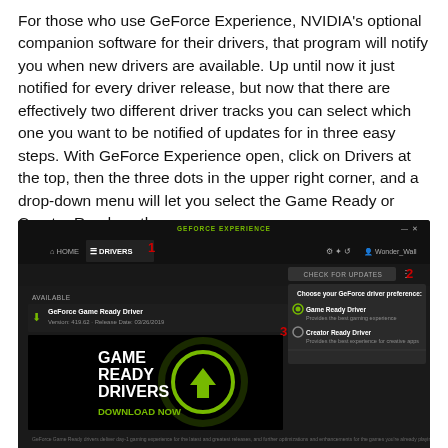For those who use GeForce Experience, NVIDIA's optional companion software for their drivers, that program will notify you when new drivers are available. Up until now it just notified for every driver release, but now that there are effectively two different driver tracks you can select which one you want to be notified of updates for in three easy steps. With GeForce Experience open, click on Drivers at the top, then the three dots in the upper right corner, and a drop-down menu will let you select the Game Ready or Creator Ready path:
[Figure (screenshot): Screenshot of NVIDIA GeForce Experience application showing the Drivers tab with numbered steps 1, 2, 3 for selecting Game Ready Driver or Creator Ready Driver preference. A large 'GAME READY DRIVERS DOWNLOAD NOW' banner is visible, along with a dropdown menu showing the two driver options.]